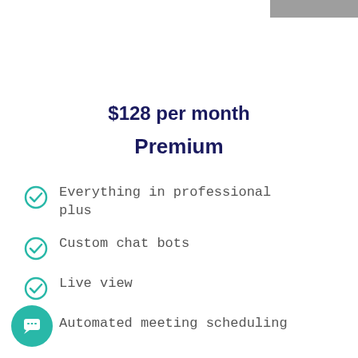$128 per month
Premium
Everything in professional plus
Custom chat bots
Live view
Automated meeting scheduling